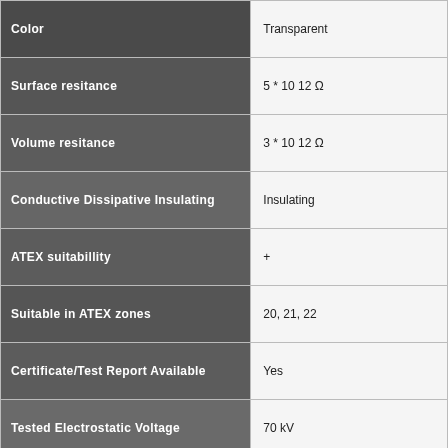| Property | Value |
| --- | --- |
| Color | Transparent |
| Surface resitance | 5 * 10 12 Ω |
| Volume resitance | 3 * 10 12 Ω |
| Conductive Dissipative Insulating | Insulating |
| ATEX suitabillity | + |
| Suitable in ATEX zones | 20, 21, 22 |
| Certificate/Test Report Available | Yes |
| Tested Electrostatic Voltage | 70 kV |
| Max. Length Pure Flexible Sleeve | maximum length < 100 mm of p |
| Air Flow Rates | flow rates < 2 m/s |
| Min Ignition Energy Assessment | minimum ignition energy assess... |